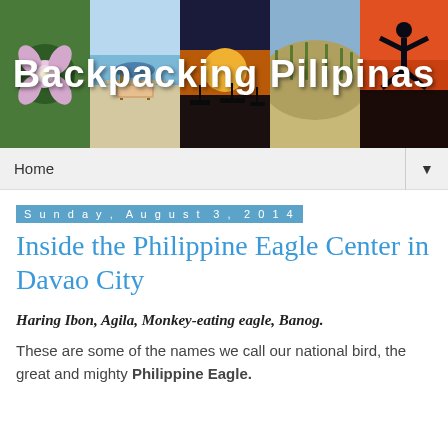[Figure (photo): Blog header banner for 'Backpacking Pilipinas' showing five panels: a flower, a beach with chairs and umbrella, a sunset with boats, sandy dunes with grass, and a silhouette of a person jumping against an orange sky. The blog title 'Backpacking Pilipinas' is overlaid in white bold text.]
Home ▼
Sunday, August 3, 2014
Inside the Philippine Eagle Center in Davao City
Haring Ibon, Agila, Monkey-eating eagle, Banog.
These are some of the names we call our national bird, the great and mighty Philippine Eagle.